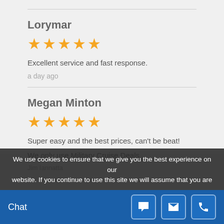Lorymar
[Figure (other): 5 gold stars rating]
Excellent service and fast response.
a day ago
Megan Minton
[Figure (other): 5 gold stars rating]
Super easy and the best prices, can't be beat!
We only use Military Cruise Deals
We use cookies to ensure that we give you the best experience on our website. If you continue to use this site we will assume that you are
Chat
Jim Iannatta